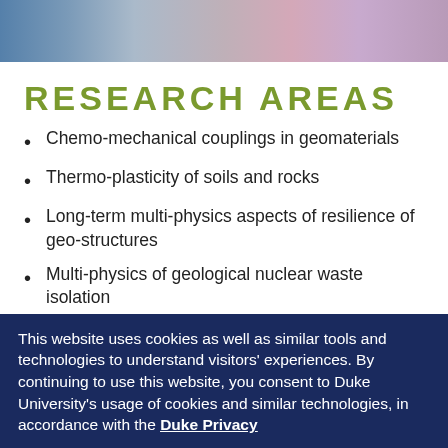[Figure (photo): Cropped photo strip showing people holding geological samples or rocks, partial view at the top of the page.]
RESEARCH AREAS
Chemo-mechanical couplings in geomaterials
Thermo-plasticity of soils and rocks
Long-term multi-physics aspects of resilience of geo-structures
Multi-physics of geological nuclear waste isolation
This website uses cookies as well as similar tools and technologies to understand visitors' experiences. By continuing to use this website, you consent to Duke University's usage of cookies and similar technologies, in accordance with the Duke Privacy